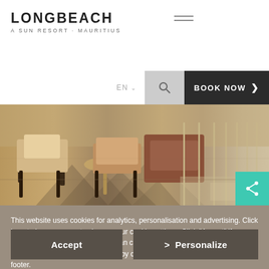[Figure (logo): Longbeach A Sun Resort Mauritius logo with hamburger menu icon]
[Figure (screenshot): Navigation bar with EN language selector, search icon, and BOOK NOW button]
[Figure (photo): Interior photo of a restaurant or lounge with chairs, tables, marble flooring and decorative elements]
[Figure (other): Teal/green share icon button]
This website uses cookies for analytics, personalisation and advertising. Click here to learn more or to change your cookie settings. Click "Accept" if you agree to our use of cookies. You can change your cookie settings anytime by accessing our Cookie Policy page by clicking on the link in the website's footer.
[Figure (other): Accept button and > Personalize button on cookie banner]